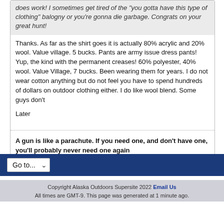does work! I sometimes get tired of the "you gotta have this type of clothing" balogny or you're gonna die garbage. Congrats on your great hunt!
Thanks. As far as the shirt goes it is actually 80% acrylic and 20% wool. Value village. 5 bucks. Pants are army issue dress pants! Yup, the kind with the permanent creases! 60% polyester, 40% wool. Value Village, 7 bucks. Been wearing them for years. I do not wear cotton anything but do not feel you have to spend hundreds of dollars on outdoor clothing either. I do like wool blend. Some guys don't
Later
A gun is like a parachute. If you need one, and don't have one, you'll probably never need one again
Go to...
Copyright Alaska Outdoors Supersite 2022 Email Us
All times are GMT-9. This page was generated at 1 minute ago.